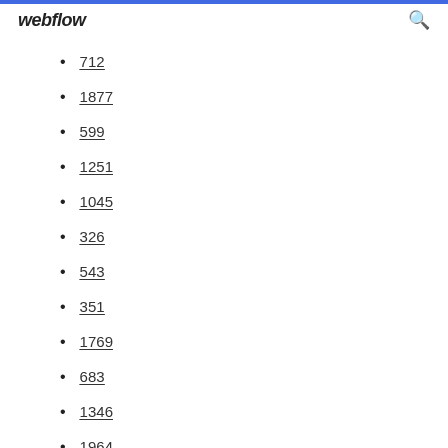webflow
712
1877
599
1251
1045
326
543
351
1769
683
1346
1964